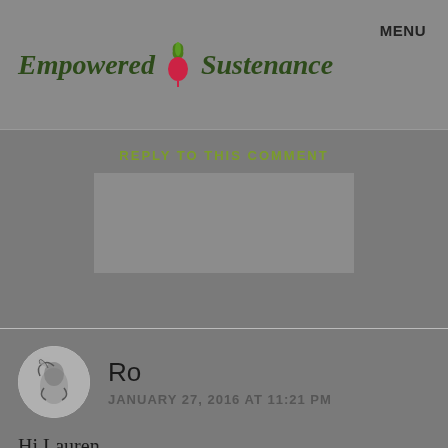Empowered Sustenance   MENU
REPLY TO THIS COMMENT
Ro
JANUARY 27, 2016 AT 11:21 PM
Hi Lauren,

I'm currently a sophomore in college, and when I stumbled across your blog today, I was